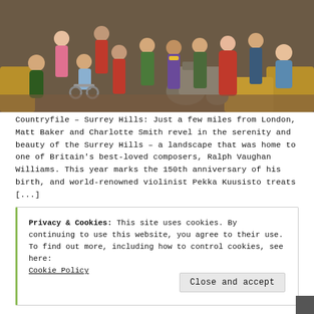[Figure (photo): Group photo of multiple people (presenters and reporters) posed in front of a barn/farm setting with hay bales and an old tractor. Mix of men and women, one person in a wheelchair, casual countryside attire.]
Countryfile – Surrey Hills: Just a few miles from London, Matt Baker and Charlotte Smith revel in the serenity and beauty of the Surrey Hills – a landscape that was home to one of Britain's best-loved composers, Ralph Vaughan Williams. This year marks the 150th anniversary of his birth, and world-renowned violinist Pekka Kuusisto treats [...]
Privacy & Cookies: This site uses cookies. By continuing to use this website, you agree to their use.
To find out more, including how to control cookies, see here: Cookie Policy
Close and accept